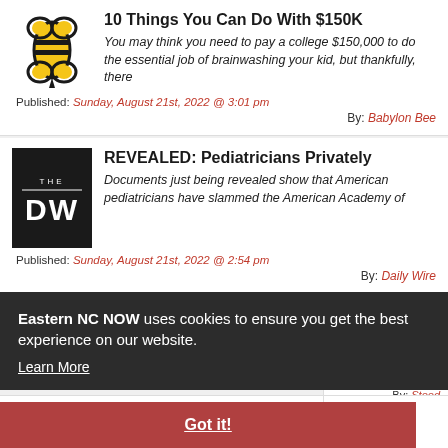10 Things You Can Do With $150K
You may think you need to pay a college $150,000 to do the essential job of brainwashing your kid, but thankfully, there
Published: Sunday, August 21st, 2022 @ 3:01 pm
By: Babylon Bee
REVEALED: Pediatricians Privately
Documents just being revealed show that American pediatricians have slammed the American Academy of
Published: Sunday, August 21st, 2022 @ 2:54 pm
By: Daily Wire
Eastern NC NOW uses cookies to ensure you get the best experience on our website. Learn More
Got it!
olice;
Steed
'Equity' is a communist tactic that